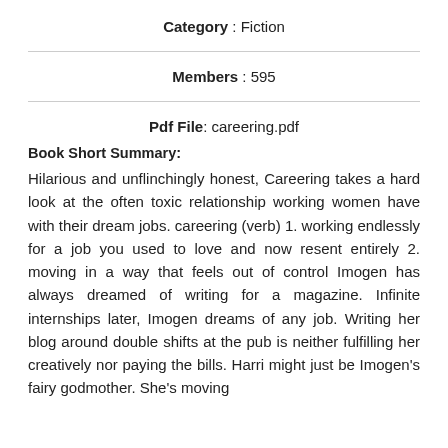Category : Fiction
Members : 595
Pdf File: careering.pdf
Book Short Summary:
Hilarious and unflinchingly honest, Careering takes a hard look at the often toxic relationship working women have with their dream jobs. careering (verb) 1. working endlessly for a job you used to love and now resent entirely 2. moving in a way that feels out of control Imogen has always dreamed of writing for a magazine. Infinite internships later, Imogen dreams of any job. Writing her blog around double shifts at the pub is neither fulfilling her creatively nor paying the bills. Harri might just be Imogen's fairy godmother. She's moving